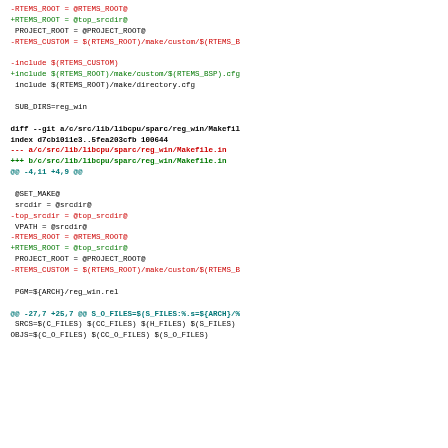[Figure (screenshot): A unified diff/patch showing changes to Makefile.in files in an RTEMS source tree, displayed with color-coded lines: red for removed lines, green for added lines, cyan for diff headers, and black for context lines. The diff shows changes to RTEMS_ROOT, RTEMS_CUSTOM, and include directives across multiple Makefile.in files.]